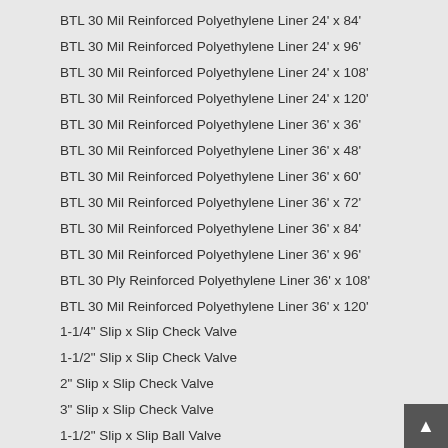BTL 30 Mil Reinforced Polyethylene Liner 24' x 84'
BTL 30 Mil Reinforced Polyethylene Liner 24' x 96'
BTL 30 Mil Reinforced Polyethylene Liner 24' x 108'
BTL 30 Mil Reinforced Polyethylene Liner 24' x 120'
BTL 30 Mil Reinforced Polyethylene Liner 36' x 36'
BTL 30 Mil Reinforced Polyethylene Liner 36' x 48'
BTL 30 Mil Reinforced Polyethylene Liner 36' x 60'
BTL 30 Mil Reinforced Polyethylene Liner 36' x 72'
BTL 30 Mil Reinforced Polyethylene Liner 36' x 84'
BTL 30 Mil Reinforced Polyethylene Liner 36' x 96'
BTL 30 Ply Reinforced Polyethylene Liner 36' x 108'
BTL 30 Mil Reinforced Polyethylene Liner 36' x 120'
1-1/4" Slip x Slip Check Valve
1-1/2" Slip x Slip Check Valve
2" Slip x Slip Check Valve
3" Slip x Slip Check Valve
1-1/2" Slip x Slip Ball Valve
2" Slip x Slip Ball Valve
1-1/2" Slip x Slip Union
2" Slip x Slip Union
1/2" Bulkhead Fitting